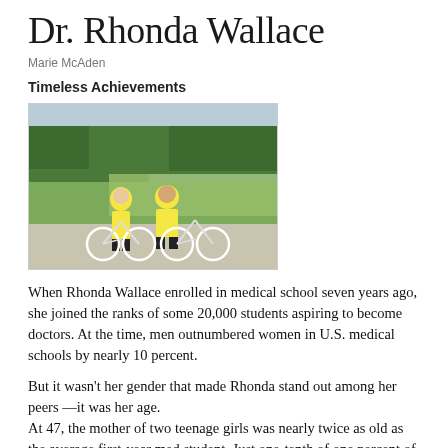Dr. Rhonda Wallace
Marie McAden
Timeless Achievements
[Figure (photo): Two people in yellow cycling gear standing with bicycles in front of a grassy marsh landscape with trees in the background.]
When Rhonda Wallace enrolled in medical school seven years ago, she joined the ranks of some 20,000 students aspiring to become doctors. At the time, men outnumbered women in U.S. medical schools by nearly 10 percent.
But it wasn't her gender that made Rhonda stand out among her peers —it was her age.
At 47, the mother of two teenage girls was nearly twice as old as the average first-year med student. Just one-tenth of one percent of students are in their late 40s when they begin the arduous seven year process to become a doctor.